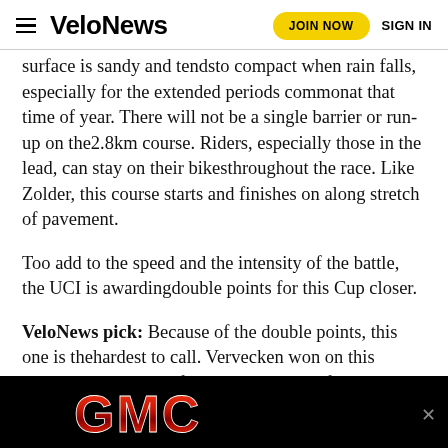VeloNews  JOIN NOW  SIGN IN
surface is sandy and tendsto compact when rain falls, especially for the extended periods commonat that time of year. There will not be a single barrier or run-up on the2.8km course. Riders, especially those in the lead, can stay on their bikesthroughout the race. Like Zolder, this course starts and finishes on along stretch of pavement.
Too add to the speed and the intensity of the battle, the UCI is awardingdouble points for this Cup closer.
VeloNews pick: Because of the double points, this one is thehardest to call. Vervecken won on this course last year and if he's inthe running for the title, he will still be our favorite to win here.
[Figure (logo): GMC logo advertisement banner — red GMC letters on black background]